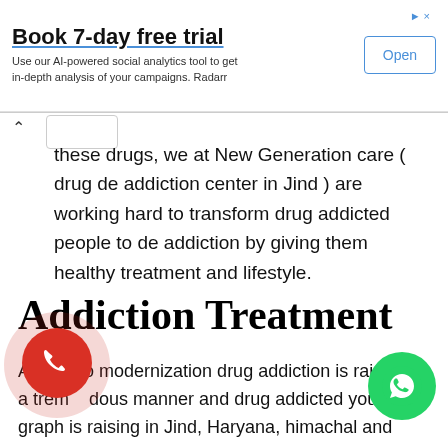[Figure (screenshot): Advertisement banner: 'Book 7-day free trial' with subtitle 'Use our AI-powered social analytics tool to get in-depth analysis of your campaigns. Radarr' and an 'Open' button]
these drugs, we at New Generation care ( drug de addiction center in Jind ) are working hard to transform drug addicted people to de addiction by giving them healthy treatment and lifestyle.
Addiction Treatment
As due to modernization drug addiction is raising in a tremendous manner and drug addicted youths graph is raising in Jind, Haryana, himachal and jammu Kashmir, we here at New Generation Care Foundation